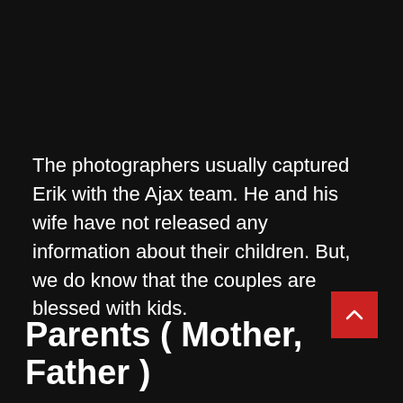The photographers usually captured Erik with the Ajax team. He and his wife have not released any information about their children. But, we do know that the couples are blessed with kids.
Parents ( Mother, Father )